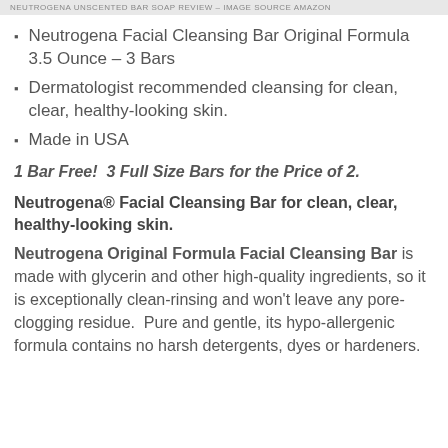NEUTROGENA UNSCENTED BAR SOAP REVIEW – IMAGE SOURCE AMAZON
Neutrogena Facial Cleansing Bar Original Formula 3.5 Ounce – 3 Bars
Dermatologist recommended cleansing for clean, clear, healthy-looking skin.
Made in USA
1 Bar Free!  3 Full Size Bars for the Price of 2.
Neutrogena® Facial Cleansing Bar for clean, clear, healthy-looking skin.
Neutrogena Original Formula Facial Cleansing Bar is made with glycerin and other high-quality ingredients, so it is exceptionally clean-rinsing and won't leave any pore-clogging residue.  Pure and gentle, its hypo-allergenic formula contains no harsh detergents, dyes or hardeners.